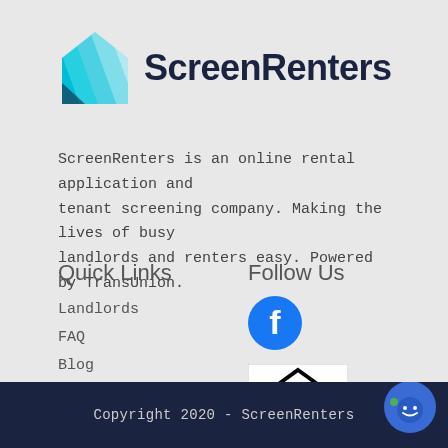[Figure (logo): ScreenRenters logo: a house/shield shape with cyan/teal diagonal stripes, followed by bold dark navy text 'ScreenRenters']
ScreenRenters is an online rental application and tenant screening company. Making the lives of busy landlords and renters easy. Powered by TransUnion.
Quick Links
Landlords
FAQ
Blog
Follow Us
[Figure (logo): Facebook circular logo icon in blue with white 'f']
[Figure (logo): Equal Housing Opportunity logo: black and white house with an equals sign, text 'EQUAL HOUSING OPPORTUNITY']
Copyright 2020 - ScreenRenters